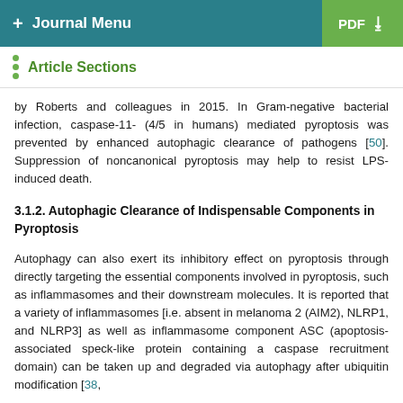+ Journal Menu | PDF
Article Sections
by Roberts and colleagues in 2015. In Gram-negative bacterial infection, caspase-11- (4/5 in humans) mediated pyroptosis was prevented by enhanced autophagic clearance of pathogens [50]. Suppression of noncanonical pyroptosis may help to resist LPS-induced death.
3.1.2. Autophagic Clearance of Indispensable Components in Pyroptosis
Autophagy can also exert its inhibitory effect on pyroptosis through directly targeting the essential components involved in pyroptosis, such as inflammasomes and their downstream molecules. It is reported that a variety of inflammasomes [i.e. absent in melanoma 2 (AIM2), NLRP1, and NLRP3] as well as inflammasome component ASC (apoptosis-associated speck-like protein containing a caspase recruitment domain) can be taken up and degraded via autophagy after ubiquitin modification [38,